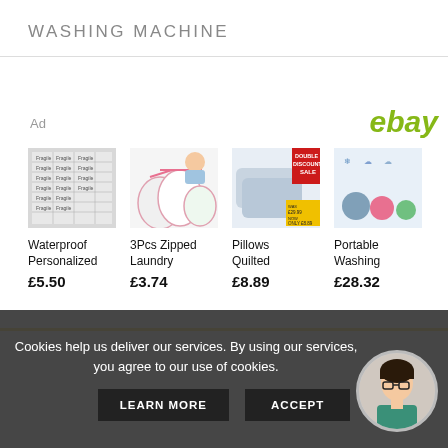WASHING MACHINE
Ad
ebay
[Figure (photo): Waterproof Personalized product image — fabric labels with text print]
Waterproof Personalized
£5.50
[Figure (photo): 3Pcs Zipped Laundry product image — mesh laundry bags with pink zipper]
3Pcs Zipped Laundry
£3.74
[Figure (photo): Pillows Quilted product image — grey pillows with DOUBLE DISCOUNT SALE banner]
Pillows Quilted
£8.89
[Figure (photo): Portable Washing product image — colorful silicone cups/containers]
Portable Washing
£28.32
Cookies help us deliver our services. By using our services, you agree to our use of cookies.
LEARN MORE
ACCEPT